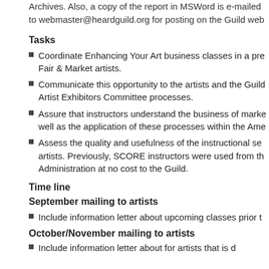Archives. Also, a copy of the report in MSWord is e-mailed to webmaster@heardguild.org for posting on the Guild web
Tasks
Coordinate Enhancing Your Art business classes in a pre- Fair & Market artists.
Communicate this opportunity to the artists and the Guild Artist Exhibitors Committee processes.
Assure that instructors understand the business of mark- well as the application of these processes within the Ame
Assess the quality and usefulness of the instructional se- artists. Previously, SCORE instructors were used from th Administration at no cost to the Guild.
Time line
September mailing to artists
Include information letter about upcoming classes prior t
October/November mailing to artists
Include information letter about for artists that is done...